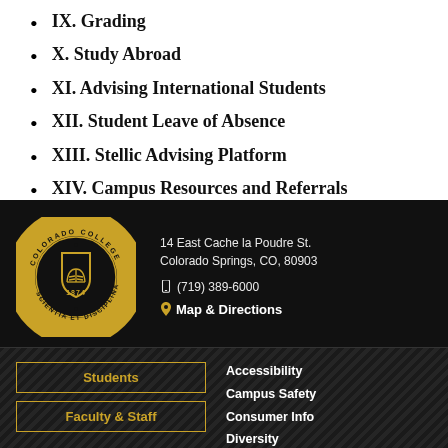IX. Grading
X. Study Abroad
XI. Advising International Students
XII. Student Leave of Absence
XIII. Stellic Advising Platform
XIV. Campus Resources and Referrals
[Figure (logo): Colorado College circular seal with text 'COLORADO COLLEGE SCIENTIA ET DISCIPLINA 1874' and an open book shield emblem in gold on black background]
14 East Cache la Poudre St.
Colorado Springs, CO, 80903
(719) 389-6000
Map & Directions
Students
Faculty & Staff
Accessibility
Campus Safety
Consumer Info
Diversity